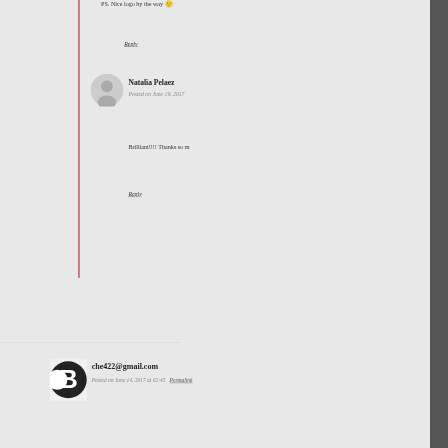PS. Nice logo by the way 🙂
Reply
Natalia Pelaez
Posted on June 19, 2017
Brilliant!!!! Thanks so m
Reply
che422@gmail.com
Posted on June 14, 2017 at 02:45  Permalink